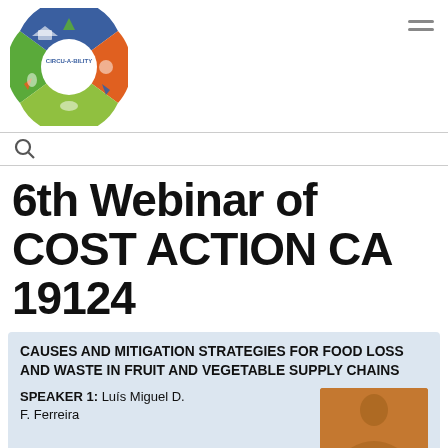[Figure (logo): Circular logo for CIRCU-A-BILITY with recycling arrows divided into colored quadrants containing food/sustainability icons]
6th Webinar of COST ACTION CA 19124
CAUSES AND MITIGATION STRATEGIES FOR FOOD LOSS AND WASTE IN FRUIT AND VEGETABLE SUPPLY CHAINS
SPEAKER 1: Luís Miguel D. F. Ferreira